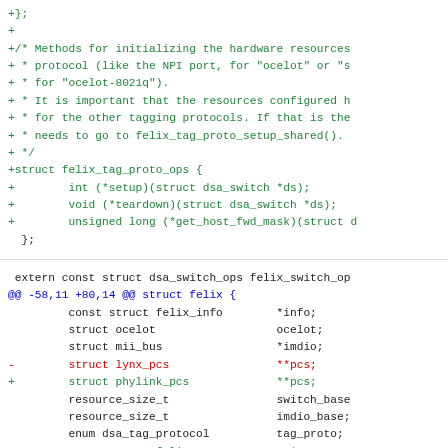Code diff showing felix_tag_proto_ops struct definition and felix struct modification in a Linux kernel driver patch